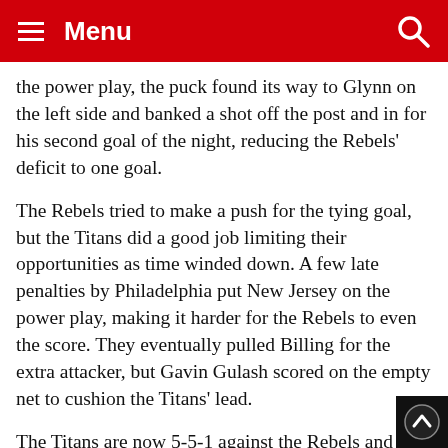Menu
the power play, the puck found its way to Glynn on the left side and banked a shot off the post and in for his second goal of the night, reducing the Rebels' deficit to one goal.
The Rebels tried to make a push for the tying goal, but the Titans did a good job limiting their opportunities as time winded down. A few late penalties by Philadelphia put New Jersey on the power play, making it harder for the Rebels to even the score. They eventually pulled Billing for the extra attacker, but Gavin Gulash scored on the empty net to cushion the Titans' lead.
The Titans are now 5-5-1 against the Rebels and have four more contests against them. Both teams will face each other in their next three games, including the second end of the home-and-home tonight at 7 p.m